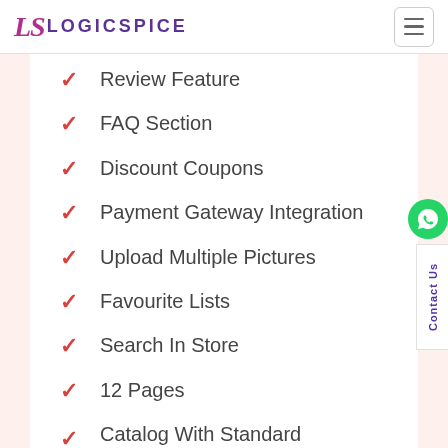LOGICSPICE
Review Feature
FAQ Section
Discount Coupons
Payment Gateway Integration
Upload Multiple Pictures
Favourite Lists
Search In Store
12 Pages
Catalog With Standard Ecommerce Functionality